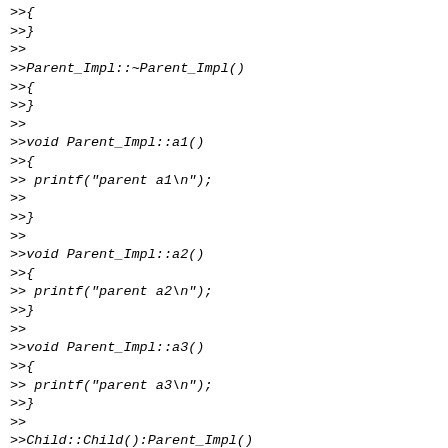>>{  >>}  >>  >>Parent_Impl::~Parent_Impl()  >>{  >>}  >>  >>void Parent_Impl::a1()  >>{  >> printf("parent a1\n");  >>  >>}  >>  >>void Parent_Impl::a2()  >>{  >> printf("parent a2\n");  >>}  >>  >>void Parent_Impl::a3()  >>{  >> printf("parent a3\n");  >>}  >>  >>Child::Child():Parent_Impl()  >>{  >>}  >>  >>Child::~Child()  >>{  >>}  >>